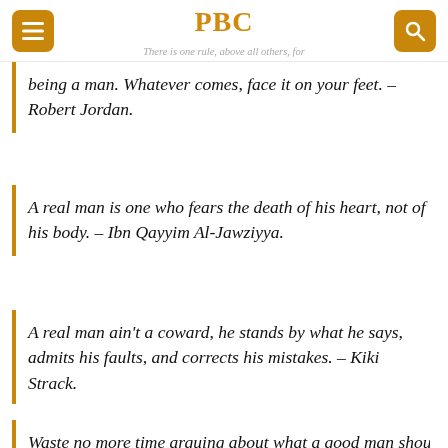PBC — There is one rule, above all others, for
being a man. Whatever comes, face it on your feet. – Robert Jordan.
A real man is one who fears the death of his heart, not of his body. – Ibn Qayyim Al-Jawziyya.
A real man ain't a coward, he stands by what he says, admits his faults, and corrects his mistakes. – Kiki Strack.
Waste no more time arguing about what a good man should be. Be one. – Marcus